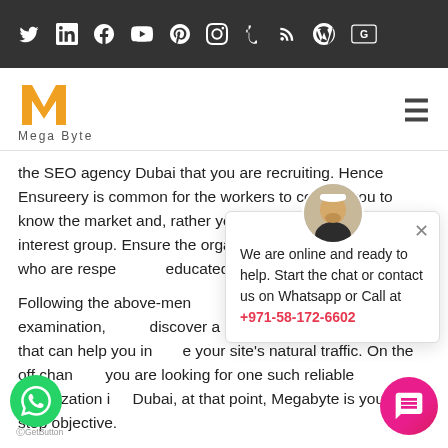Social media icons bar: Twitter, LinkedIn, Facebook, YouTube, Pinterest, Instagram, Tumblr, RSS, WordPress, G
[Figure (logo): Mega Byte logo - orange M shape with 'Mega Byte' text below]
the SEO agency Dubai that you are recruiting. Hence Ensureery is common for the workers to contact you to know the market and, rather your intended interest group. Ensure the organization's the people who are respe educated.
Following the above-mentioned a touch of examination, discover a solid SEO agency in Dubai that can help you increase your site's natural traffic. On the off chance you are looking for one such reliable organization in Dubai, at that point, Megabyte is your one-stop objective.
[Figure (screenshot): Chat popup with avatar, text: We are online and ready to help. Start the chat or contact us on Whatsapp or Call at +971-58-172-6602]